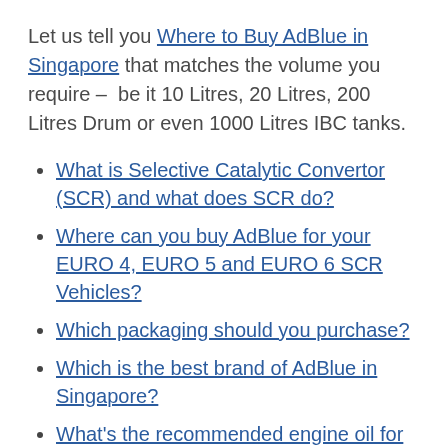Let us tell you Where to Buy AdBlue in Singapore that matches the volume you require – be it 10 Litres, 20 Litres, 200 Litres Drum or even 1000 Litres IBC tanks.
What is Selective Catalytic Convertor (SCR) and what does SCR do?
Where can you buy AdBlue for your EURO 4, EURO 5 and EURO 6 SCR Vehicles?
Which packaging should you purchase?
Which is the best brand of AdBlue in Singapore?
What's the recommended engine oil for your EURO 4, EURO 5 and Euro 6 SCR vehicles?
Please drop us a message for further